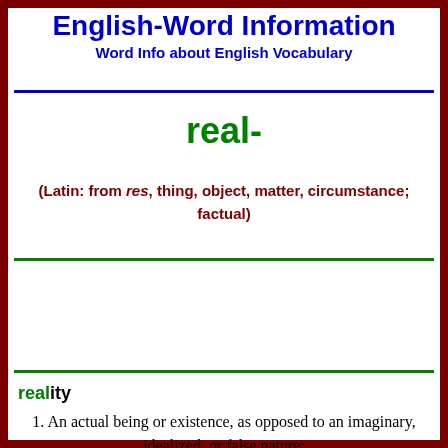English-Word Information
Word Info about English Vocabulary
real-
(Latin: from res, thing, object, matter, circumstance; factual)
reality
1. An actual being or existence, as opposed to an imaginary, idealized, or false nature;